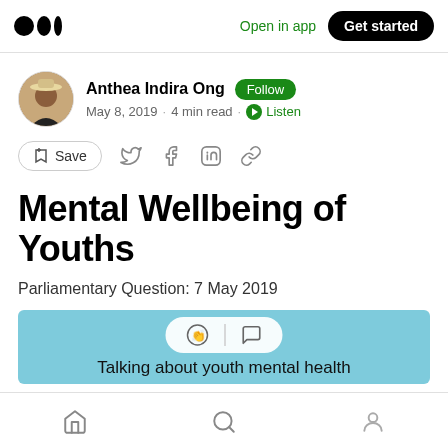Medium logo | Open in app | Get started
Anthea Indira Ong · Follow · May 8, 2019 · 4 min read · Listen
Save (social share icons: Twitter, Facebook, LinkedIn, Link)
Mental Wellbeing of Youths
Parliamentary Question: 7 May 2019
[Figure (screenshot): Light blue banner image with reaction/comment bubble overlay and text: Talking about youth mental health]
Home | Search | Profile (bottom navigation)